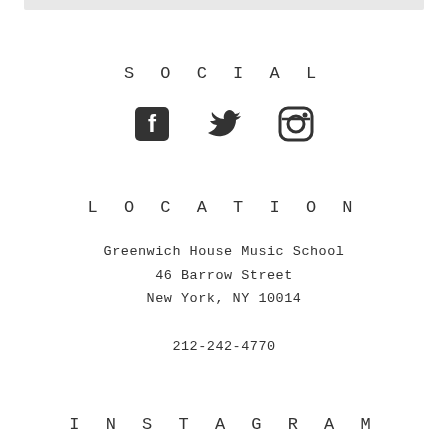SOCIAL
[Figure (illustration): Three social media icons: Facebook, Twitter, Instagram]
LOCATION
Greenwich House Music School
46 Barrow Street
New York, NY 10014
212-242-4770
INSTAGRAM